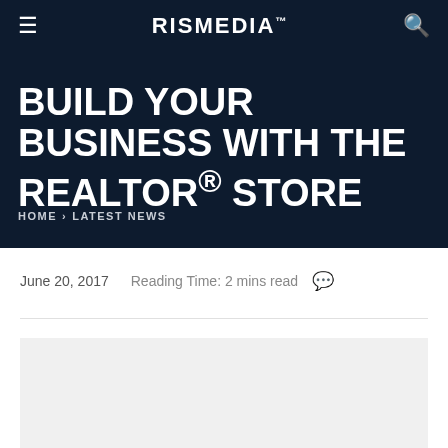RisMedia™
BUILD YOUR BUSINESS WITH THE REALTOR® STORE
HOME > LATEST NEWS
June 20, 2017   Reading Time: 2 mins read
[Figure (photo): Light gray image placeholder rectangle below the article metadata]